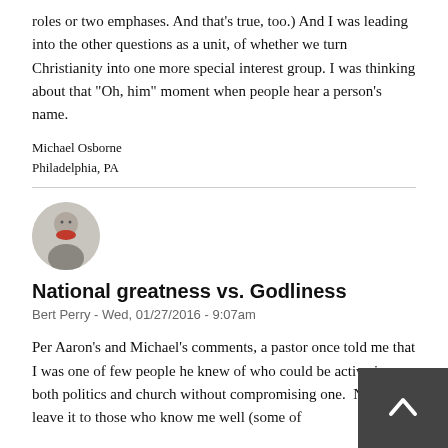roles or two emphases. And that's true, too.) And I was leading into the other questions as a unit, of whether we turn Christianity into one more special interest group. I was thinking about that "Oh, him" moment when people hear a person's name.
Michael Osborne
Philadelphia, PA
[Figure (photo): Circular avatar photo of a person wearing a red mask/scarf]
National greatness vs. Godliness
Bert Perry - Wed, 01/27/2016 - 9:07am
Per Aaron's and Michael's comments, a pastor once told me that I was one of few people he knew of who could be active in both politics and church without compromising one.  Now I'll leave it to those who know me well (some of